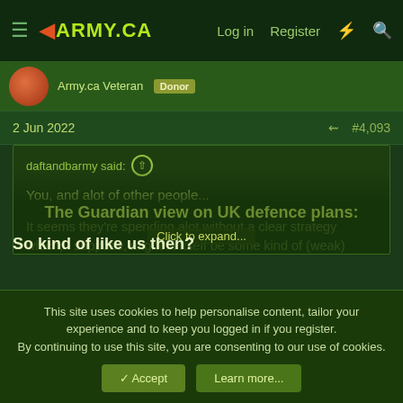ARMY.CA | Log in | Register
Army.ca Veteran  Donor
2 Jun 2022  #4,093
daftandbarmy said:
You, and alot of other people...

It seems they're spending alot without a clear strategy which, I suppose, might in itself be some kind of (weak) strategy:

The Guardian view on UK defence plans:
Click to expand...
So kind of like us then?
This site uses cookies to help personalise content, tailor your experience and to keep you logged in if you register.
By continuing to use this site, you are consenting to our use of cookies.
✓ Accept   Learn more...